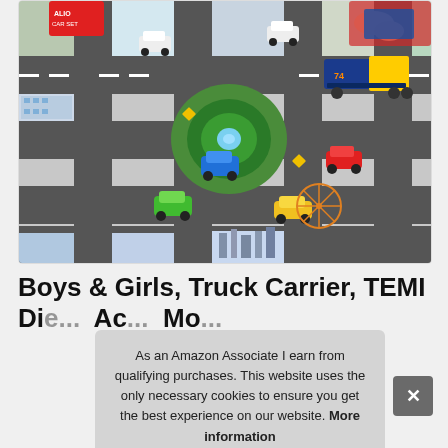[Figure (photo): Product photo of a children's city road play mat with toy cars including a truck carrier, sports cars in green, yellow, blue, and red, set up as a city scene with roads, roundabout, buildings, and traffic signs. A child's hands are visible playing with the mat.]
Boys & Girls, Truck Carrier, TEMI Die... Ac... Mo...
As an Amazon Associate I earn from qualifying purchases. This website uses the only necessary cookies to ensure you get the best experience on our website. More information